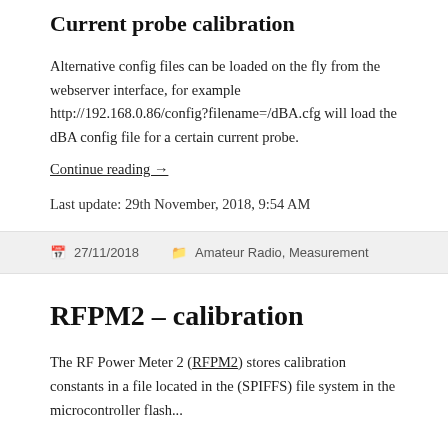Current probe calibration
Alternative config files can be loaded on the fly from the webserver interface, for example http://192.168.0.86/config?filename=/dBA.cfg will load the dBA config file for a certain current probe.
Continue reading →
Last update: 29th November, 2018, 9:54 AM
27/11/2018   Amateur Radio, Measurement
RFPM2 – calibration
The RF Power Meter 2 (RFPM2) stores calibration constants in a file located in the (SPIFFS) file system in the microcontroller flash...